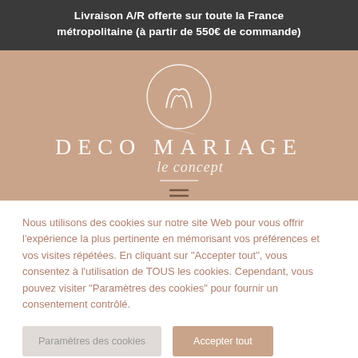Livraison A/R offerte sur toute la France métropolitaine (à partir de 550€ de commande)
[Figure (logo): Deco Mariage le concept logo on rose-beige background. Circle with stylized M monogram above text DECO MARIAGE and cursive 'le concept' below. Two horizontal lines at bottom.]
Nous utilisons des cookies sur notre site Web pour vous offrir l'expérience la plus pertinente en mémorisant vos préférences et vos visites répétées. En cliquant sur "Accepter tout", vous consentez à l'utilisation de TOUS les cookies. Cependant, vous pouvez visiter "Paramètres des cookies" pour fournir un consentement contrôlé.
Paramètres des cookies | Accepter tout